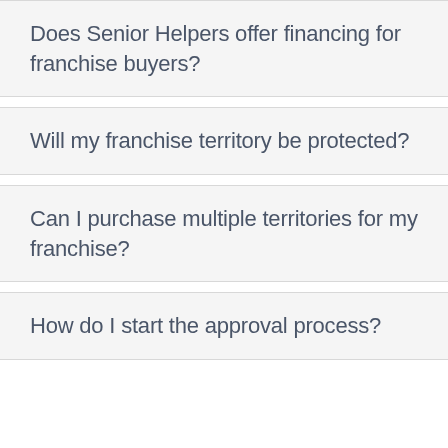Does Senior Helpers offer financing for franchise buyers?
Will my franchise territory be protected?
Can I purchase multiple territories for my franchise?
How do I start the approval process?